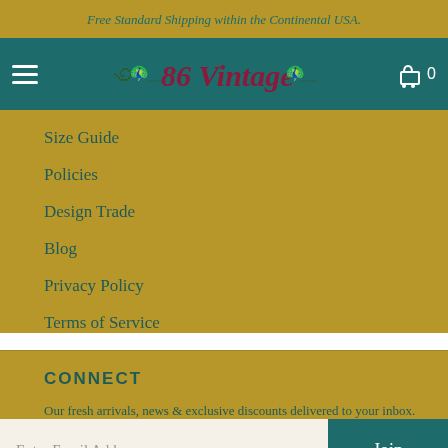Free Standard Shipping within the Continental USA.
[Figure (logo): 86 Vintage logo with peacock/bird decorations on teal navigation bar with hamburger menu and cart icon showing 0]
Size Guide
Policies
Design Trade
Blog
Privacy Policy
Terms of Service
CONNECT
Our fresh arrivals, news & exclusive discounts delivered to your inbox.
Enter Email Address | Join